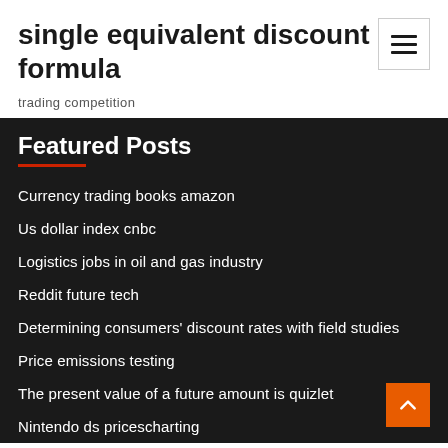single equivalent discount rate formula
trading competition
Featured Posts
Currency trading books amazon
Us dollar index cnbc
Logistics jobs in oil and gas industry
Reddit future tech
Determining consumers' discount rates with field studies
Price emissions testing
The present value of a future amount is quizlet
Nintendo ds pricescharting